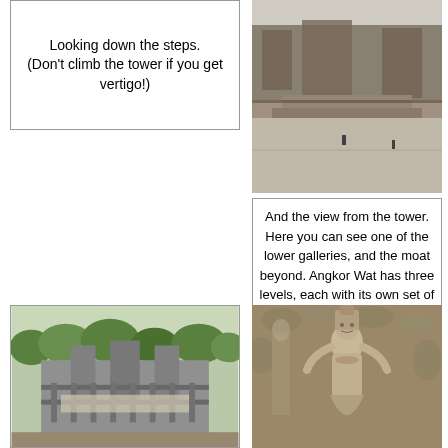Looking down the steps. (Don't climb the tower if you get vertigo!)
[Figure (photo): Black and white aerial view looking down steps of Angkor Wat tower, showing courtyard below with small figures]
And the view from the tower. Here you can see one of the lower galleries, and the moat beyond. Angkor Wat has three levels, each with its own set of elaborately carved galleries.
[Figure (photo): Color photo showing view from Angkor Wat tower, lower galleries visible with trees and landscape beyond]
[Figure (photo): Stone carving of an apsara (heavenly dancer) at Angkor Wat, elaborately carved in relief]